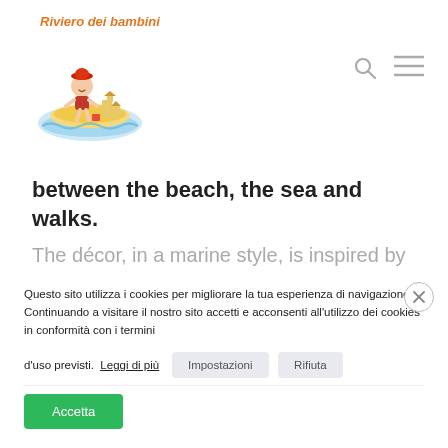[Figure (logo): Riviera dei bambini website header with logo showing a child building sandcastles on a beach inside a circular frame, with orange italic text 'Riviera dei bambini' above. Search and menu icons on the right.]
between the beach, the sea and walks.
The décor, in a marine style, is inspired by
Questo sito utilizza i cookies per migliorare la tua esperienza di navigazione. Continuando a visitare il nostro sito accetti e acconsenti all'utilizzo dei cookies in conformità con i termini d'uso previsti.  Leggi di più   Impostazioni   Rifiuta
Accetta